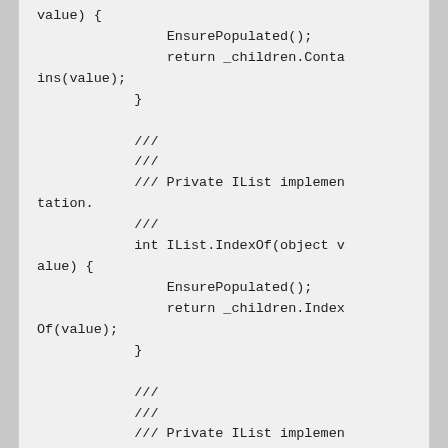value) {
                EnsurePopulated();
                return _children.Conta
ins(value);
            }

            ///
            ///
            /// Private IList implemen
tation.
            ///
            int IList.IndexOf(object v
alue) {
                EnsurePopulated();
                return _children.Index
Of(value);
            }

            ///
            ///
            /// Private IList implemen
tation.
            ///
            void IList.Insert(int inde